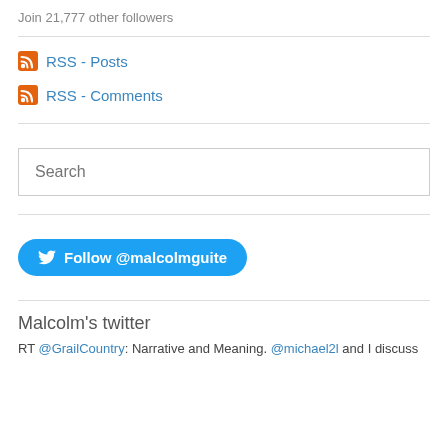Join 21,777 other followers
RSS - Posts
RSS - Comments
Search
[Figure (other): Follow @malcolmguite Twitter button]
Malcolm's twitter
RT @GrailCountry: Narrative and Meaning. @michael2l and I discuss